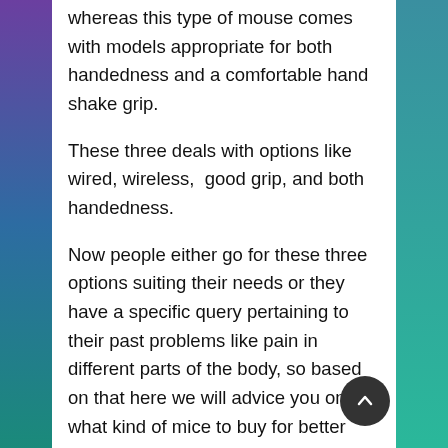whereas this type of mouse comes with models appropriate for both handedness and a comfortable hand shake grip.
These three deals with options like wired, wireless, good grip, and both handedness.
Now people either go for these three options suiting their needs or they have a specific query pertaining to their past problems like pain in different parts of the body, so based on that here we will advice you on what kind of mice to buy for better ergonomics.
Pick one of the following symptoms along with your hand size (small, medium or large)
1. Shoulder pain